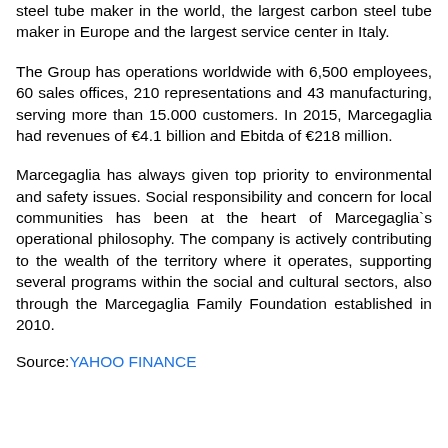steel tube maker in the world, the largest carbon steel tube maker in Europe and the largest service center in Italy.
The Group has operations worldwide with 6,500 employees, 60 sales offices, 210 representations and 43 manufacturing, serving more than 15.000 customers. In 2015, Marcegaglia had revenues of €4.1 billion and Ebitda of €218 million.
Marcegaglia has always given top priority to environmental and safety issues. Social responsibility and concern for local communities has been at the heart of Marcegaglia`s operational philosophy. The company is actively contributing to the wealth of the territory where it operates, supporting several programs within the social and cultural sectors, also through the Marcegaglia Family Foundation established in 2010.
Source: YAHOO FINANCE